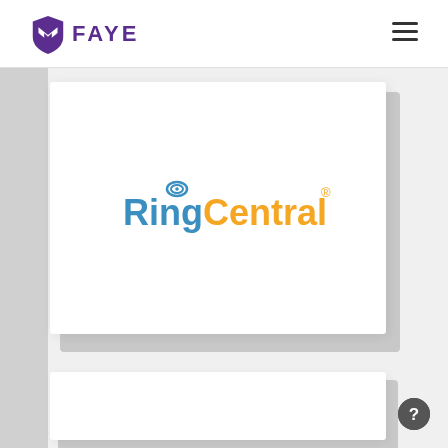[Figure (logo): Faye logo: purple shield/arrow icon with purple text 'FAYE' in bold capitals]
[Figure (logo): RingCentral logo: blue text 'Ring' with wifi arc above 'i', orange text 'Central', registered trademark symbol]
[Figure (other): Hamburger menu icon (three horizontal lines) in top right of header]
[Figure (other): Help/question mark circle button in bottom right corner]